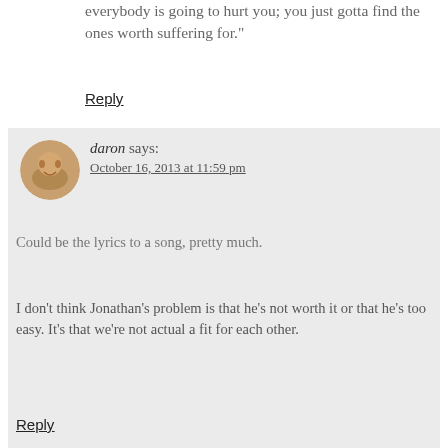everybody is going to hurt you; you just gotta find the ones worth suffering for."
Reply
daron says:
October 16, 2013 at 11:59 pm
Could be the lyrics to a song, pretty much.
I don’t think Jonathan’s problem is that he’s not worth it or that he’s too easy. It’s that we’re not actual a fit for each other.
Reply
LenaLena says:
October 17, 2013 at 8:36 pm
I my head it applied more to Ziggy than Jonathan, but however you want to read it….
Reply